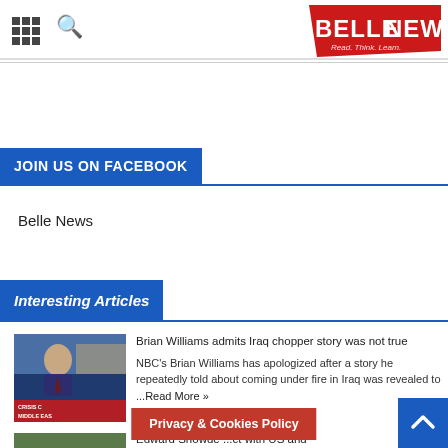BELLENEWS — Read. Think. Learn.
JOIN US ON FACEBOOK
Belle News
Interesting Articles
[Figure (photo): News anchor in suit with 'Crisis Middle East' chyron on screen]
Brian Williams admits Iraq chopper story was not true
NBC's Brian Williams has apologized after a story he repeatedly told about coming under fire in Iraq was revealed to ...Read More »
Edward Snowden ... ct with US and
Privacy & Cookies Policy